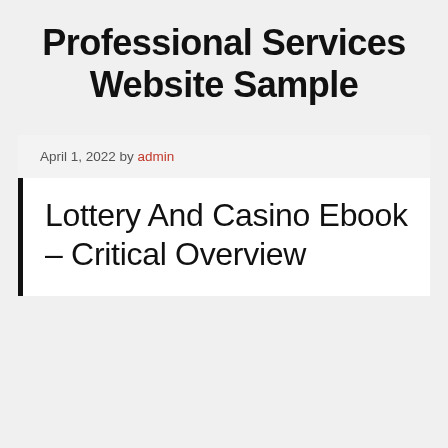Professional Services Website Sample
April 1, 2022 by admin
Lottery And Casino Ebook – Critical Overview